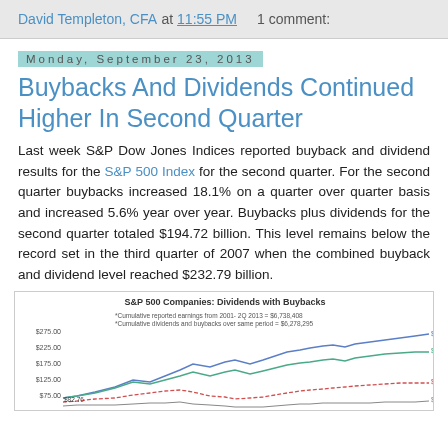David Templeton, CFA at 11:55 PM    1 comment:
Monday, September 23, 2013
Buybacks And Dividends Continued Higher In Second Quarter
Last week S&P Dow Jones Indices reported buyback and dividend results for the S&P 500 Index for the second quarter. For the second quarter buybacks increased 18.1% on a quarter over quarter basis and increased 5.6% year over year. Buybacks plus dividends for the second quarter totaled $194.72 billion. This level remains below the record set in the third quarter of 2007 when the combined buyback and dividend level reached $232.79 billion.
[Figure (line-chart): Multi-line chart showing S&P 500 cumulative reported earnings, dividends and buybacks over time. Annotations include cumulative reported earnings from 2001-2Q 2013 = $6,738,408 and cumulative dividends and buybacks over same period = $6,278,295. Y-axis labels: $275.00, $225.00, $175.00, $125.00, $75.00. Value labels: $222.21 (blue line), $154.72 (green line), $110.25 (red line dashed), $76.47. Notable point $82.76 marked on left side.]